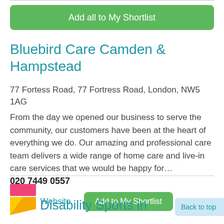Add all to My Shortlist
Bluebird Care Camden & Hampstead
77 Fortess Road, 77 Fortress Road, London, NW5 1AG
From the day we opened our business to serve the community, our customers have been at the heart of everything we do. Our amazing and professional care team delivers a wide range of home care and live-in care services that we would be happy for…
020 7449 0557
Email
Website
Add to My Shortlist
Disability Sports in
Back to top